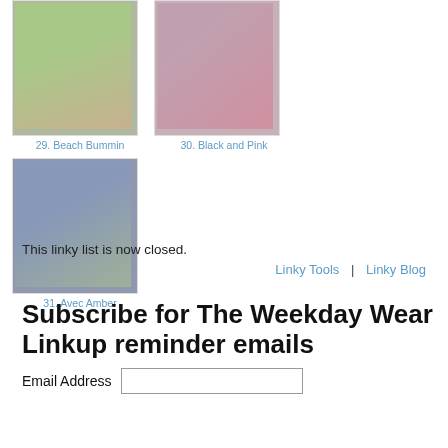[Figure (photo): Photo of a woman in a beach bum t-shirt and denim shorts standing outdoors near a tree]
29. Beach Bummin
[Figure (photo): Flat lay outfit photo showing a floral skirt, pink top, pink beaded necklace, and pink flats]
30. Black and Pink
[Figure (photo): Photo of a woman wearing a striped skirt and light top standing outdoors]
31. Avec Amber
This linky list is now closed.
Linky Tools | Linky Blog
Subscribe for The Weekday Wear Linkup reminder emails
Email Address